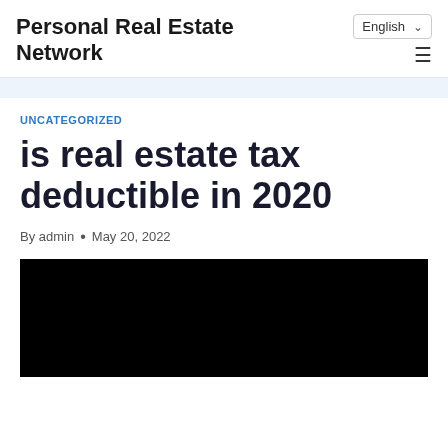Personal Real Estate Network
English
UNCATEGORIZED
is real estate tax deductible in 2020
By admin • May 20, 2022
[Figure (photo): Black image / video placeholder]